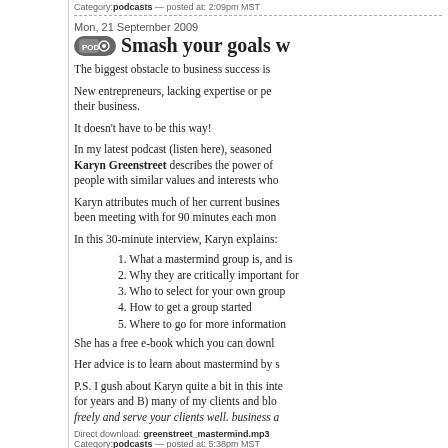Category: podcasts — posted at: 2:09pm MST
Mon, 21 September 2009
Smash your goals w...
The biggest obstacle to business success is...
New entrepreneurs, lacking expertise or per... their business.
It doesn't have to be this way!
In my latest podcast (listen here), seasoned... Karyn Greenstreet describes the power of... people with similar values and interests who...
Karyn attributes much of her current busines... been meeting with for 90 minutes each mon...
In this 30-minute interview, Karyn explains:
1. What a mastermind group is, and is...
2. Why they are critically important for...
3. Who to select for your own group
4. How to get a group started
5. Where to go for more information
She has a free e-book which you can downl...
Her advice is to learn about mastermind by s...
P.S. I gush about Karyn quite a bit in this inte... for years and B) many of my clients and blo... freely and serve your clients well. business a...
Direct download: greenstreet_mastermind.mp3 Category: podcasts — posted at: 5:38pm MST